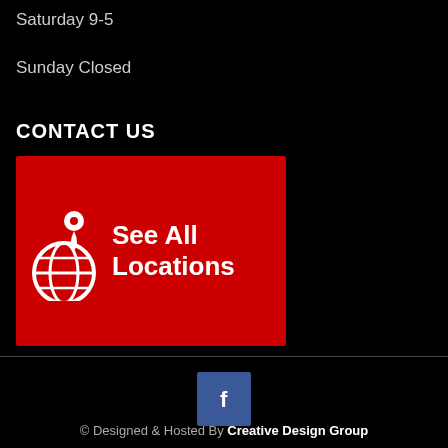Saturday 9-5
Sunday Closed
CONTACT US
[Figure (infographic): Red banner with globe and location pin icon on the left and white bold text 'See All Locations' on the right]
[Figure (logo): Facebook icon button (blue square with white f)]
© Designed & Hosted By Creative Design Group